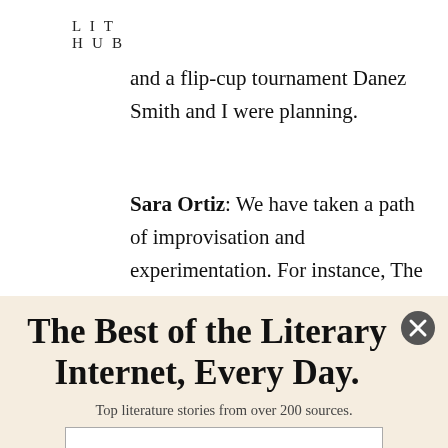LIT HUB
and a flip-cup tournament Danez Smith and I were planning.
Sara Ortiz: We have taken a path of improvisation and experimentation. For instance, The Kristen Arnett Show was pure silliness mixed with
The Best of the Literary Internet, Every Day.
Top literature stories from over 200 sources.
SUBSCRIBE